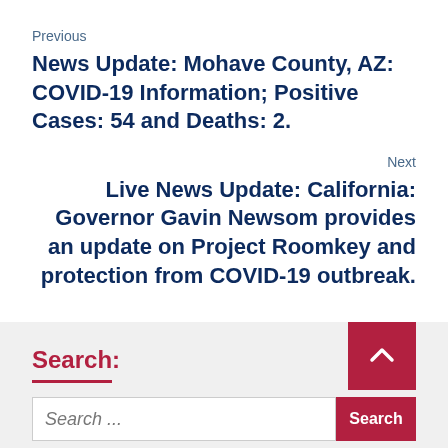Previous
News Update: Mohave County, AZ: COVID-19 Information; Positive Cases: 54 and Deaths: 2.
Next
Live News Update: California: Governor Gavin Newsom provides an update on Project Roomkey and protection from COVID-19 outbreak.
Search:
Search ...